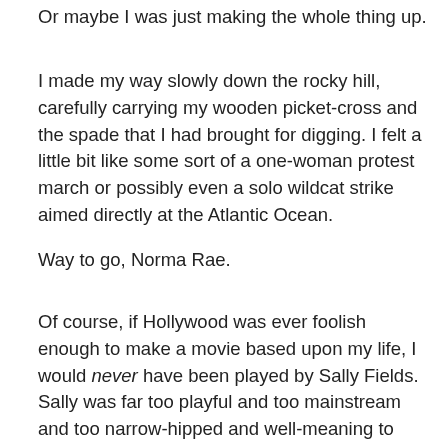Or maybe I was just making the whole thing up.
I made my way slowly down the rocky hill, carefully carrying my wooden picket-cross and the spade that I had brought for digging. I felt a little bit like some sort of a one-woman protest march or possibly even a solo wildcat strike aimed directly at the Atlantic Ocean.
Way to go, Norma Rae.
Of course, if Hollywood was ever foolish enough to make a movie based upon my life, I would never have been played by Sally Fields. Sally was far too playful and too mainstream and too narrow-hipped and well-meaning to portray me accurately. Not to mention that she was too darn short. I had always been built along the lines of a tall drink of water.